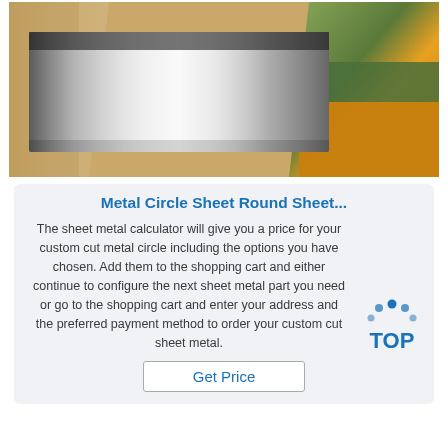[Figure (photo): Photo of a shiny metal circle/flat sheet with packaging materials including brown kraft paper, plastic wrap, and green/orange materials in the background.]
Metal Circle Sheet Round Sheet...
The sheet metal calculator will give you a price for your custom cut metal circle including the options you have chosen. Add them to the shopping cart and either continue to configure the next sheet metal part you need or go to the shopping cart and enter your address and the preferred payment method to order your custom cut sheet metal.
[Figure (logo): TOP badge logo with blue dots arranged in an arc above the text TOP in blue letters]
Get Price